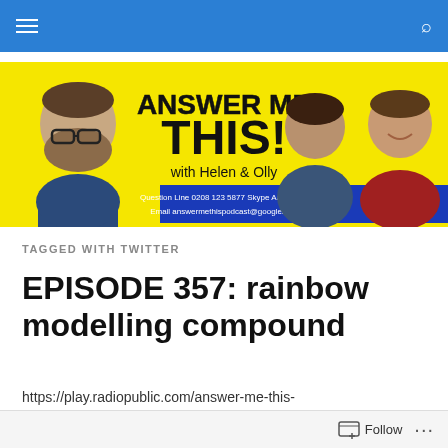Navigation bar with hamburger menu and search icon
[Figure (illustration): Answer Me This! podcast banner with yellow background showing two hosts (Helen and Olly) and a bearded man. Large bold black text reads 'ANSWER ME THIS!' with subtitle 'with Helen & Olly'. Bottom has blue strip with text: Question Line 0208 123 5877 Skype AnswerMeThis Email answermethispodcast@googlemail.com]
TAGGED WITH TWITTER
EPISODE 357: rainbow modelling compound
https://play.radiopublic.com/answer-me-this-rWxVg8/ep/s1la61384e1f200eaef0aed0b270b8ed08f7de0